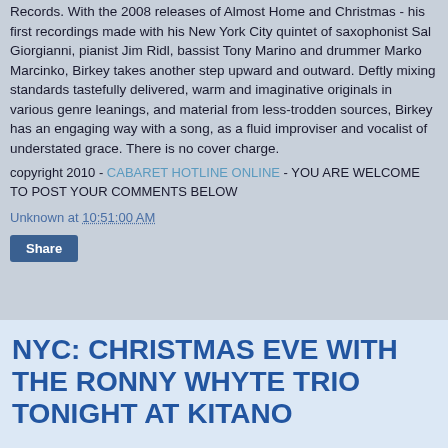Records. With the 2008 releases of Almost Home and Christmas - his first recordings made with his New York City quintet of saxophonist Sal Giorgianni, pianist Jim Ridl, bassist Tony Marino and drummer Marko Marcinko, Birkey takes another step upward and outward. Deftly mixing standards tastefully delivered, warm and imaginative originals in various genre leanings, and material from less-trodden sources, Birkey has an engaging way with a song, as a fluid improviser and vocalist of understated grace. There is no cover charge.
copyright 2010 - CABARET HOTLINE ONLINE - YOU ARE WELCOME TO POST YOUR COMMENTS BELOW
Unknown at 10:51:00 AM
Share
NYC: CHRISTMAS EVE WITH THE RONNY WHYTE TRIO TONIGHT AT KITANO